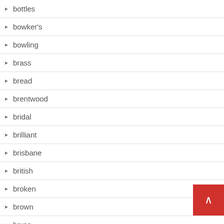bottles
bowker's
bowling
brass
bread
brentwood
bridal
brilliant
brisbane
british
broken
brown
bryce